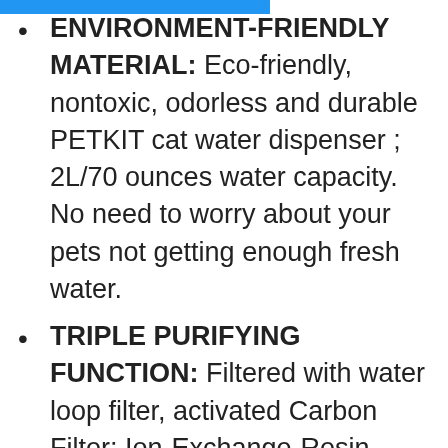ENVIRONMENT-FRIENDLY MATERIAL: Eco-friendly, nontoxic, odorless and durable PETKIT cat water dispenser ; 2L/70 ounces water capacity. No need to worry about your pets not getting enough fresh water.
TRIPLE PURIFYING FUNCTION: Filtered with water loop filter, activated Carbon Filter; Ion-Exchange-Resin.
Reminders: Water fountain will inform you to refill the water in time to avoid short of water. And also